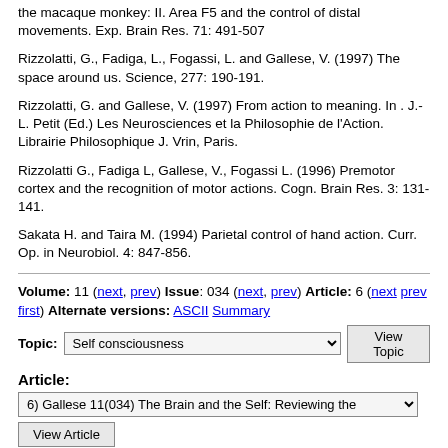the macaque monkey: II. Area F5 and the control of distal movements. Exp. Brain Res. 71: 491-507
Rizzolatti, G., Fadiga, L., Fogassi, L. and Gallese, V. (1997) The space around us. Science, 277: 190-191.
Rizzolatti, G. and Gallese, V. (1997) From action to meaning. In . J.-L. Petit (Ed.) Les Neurosciences et la Philosophie de l'Action. Librairie Philosophique J. Vrin, Paris.
Rizzolatti G., Fadiga L, Gallese, V., Fogassi L. (1996) Premotor cortex and the recognition of motor actions. Cogn. Brain Res. 3: 131-141.
Sakata H. and Taira M. (1994) Parietal control of hand action. Curr. Op. in Neurobiol. 4: 847-856.
Volume: 11 (next, prev) Issue: 034 (next, prev) Article: 6 (next prev first) Alternate versions: ASCII Summary
Topic: Self consciousness  View Topic
Article:
6) Gallese 11(034) The Brain and the Self: Reviewing the  View Article